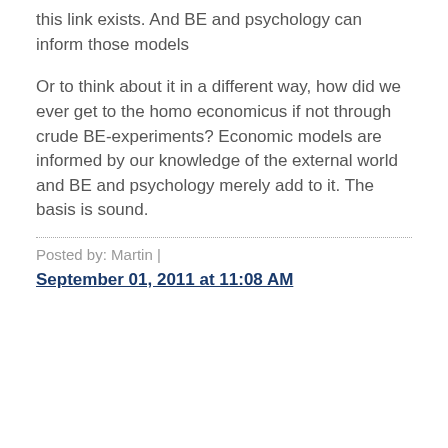this link exists. And BE and psychology can inform those models
Or to think about it in a different way, how did we ever get to the homo economicus if not through crude BE-experiments? Economic models are informed by our knowledge of the external world and BE and psychology merely add to it. The basis is sound.
Posted by: Martin | September 01, 2011 at 11:08 AM